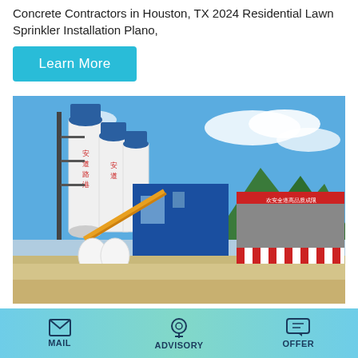Concrete Contractors in Houston, TX 2024 Residential Lawn Sprinkler Installation Plano,
Learn More
[Figure (photo): Industrial concrete batching plant with tall white silos marked with red Chinese characters, blue steel structure, yellow conveyor belt, and a large shed with red and white striped base. Mountain visible in background under blue sky.]
Japan Used Fuso Mitsubishi Concrete Mixer, Alibaba Com
MAIL   ADVISORY   OFFER